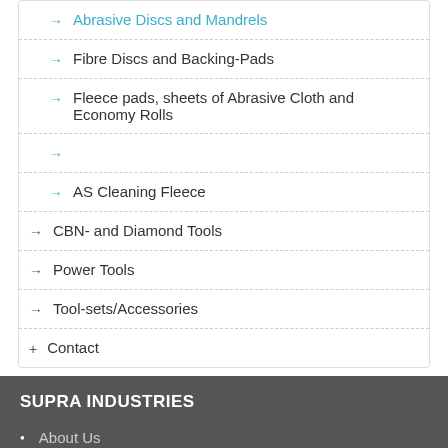Abrasive Discs and Mandrels
Fibre Discs and Backing-Pads
Fleece pads, sheets of Abrasive Cloth and Economy Rolls
AS Cleaning Fleece
CBN- and Diamond Tools
Power Tools
Tool-sets/Accessories
Contact
SUPRA INDUSTRIES
About Us
Quality Lukas
Career
News